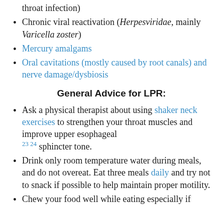throat infection)
Chronic viral reactivation (Herpesviridae, mainly Varicella zoster)
Mercury amalgams
Oral cavitations (mostly caused by root canals) and nerve damage/dysbiosis
General Advice for LPR:
Ask a physical therapist about using shaker neck exercises to strengthen your throat muscles and improve upper esophageal sphincter tone. [23][24]
Drink only room temperature water during meals, and do not overeat. Eat three meals daily and try not to snack if possible to help maintain proper motility.
Chew your food well while eating especially if